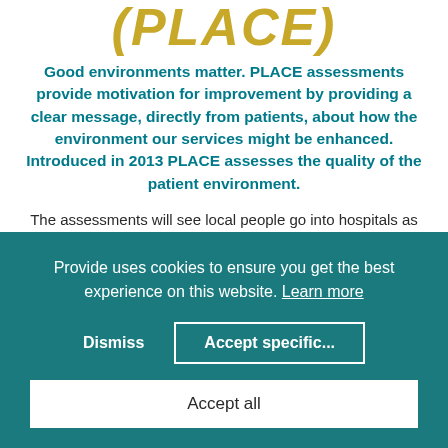(PLACE)
Good environments matter. PLACE assessments provide motivation for improvement by providing a clear message, directly from patients, about how the environment our services might be enhanced. Introduced in 2013 PLACE assesses the quality of the patient environment.
The assessments will see local people go into hospitals as part of teams to assess how the environment supports
Provide uses cookies to ensure you get the best experience on this website. Learn more
Dismiss
Accept specific...
Accept all